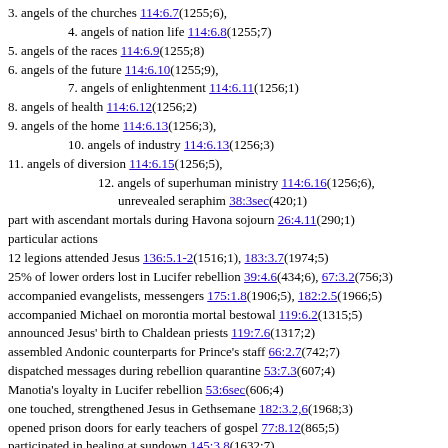3. angels of the churches 114:6.7(1255;6),
4. angels of nation life 114:6.8(1255;7)
5. angels of the races 114:6.9(1255;8)
6. angels of the future 114:6.10(1255;9),
7. angels of enlightenment 114:6.11(1256;1)
8. angels of health 114:6.12(1256;2)
9. angels of the home 114:6.13(1256;3),
10. angels of industry 114:6.13(1256;3)
11. angels of diversion 114:6.15(1256;5),
12. angels of superhuman ministry 114:6.16(1256;6), unrevealed seraphim 38:3sec(420;1)
part with ascendant mortals during Havona sojourn 26:4.11(290;1)
particular actions
12 legions attended Jesus 136:5.1-2(1516;1), 183:3.7(1974;5)
25% of lower orders lost in Lucifer rebellion 39:4.6(434;6), 67:3.2(756;3)
accompanied evangelists, messengers 175:1.8(1906;5), 182:2.5(1966;5)
accompanied Michael on morontia mortal bestowal 119:6.2(1315;5)
announced Jesus' birth to Chaldean priests 119:7.6(1317;2)
assembled Andonic counterparts for Prince's staff 66:2.7(742;7)
dispatched messages during rebellion quarantine 53:7.3(607;4)
Manotia's loyalty in Lucifer rebellion 53:6sec(606;4)
one touched, strengthened Jesus in Gethsemane 182:3.2,6(1968;3)
opened prison doors for early teachers of gospel 77:8.12(865;5)
participated in healing at sundown 145:3.8(1632;7)
sang anthems at birth of Jesus 122:8.5(1352;1)
some rebel s. on earth up to Christ's death 77:7.4(863;5)
told Jesus to be about Father's business 37:2.8(407;8), 124:6.15(1376;1), 126:3.5(1389;8)